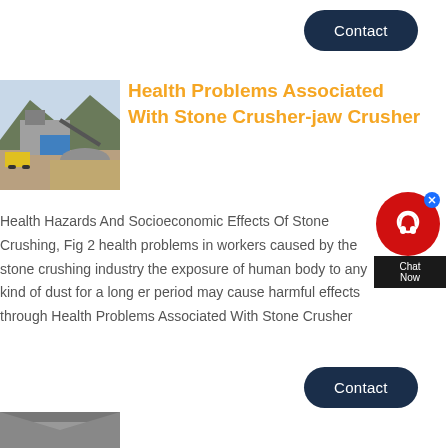Contact
[Figure (photo): Outdoor stone crushing facility with machinery and rock piles, mountain in background]
Health Problems Associated With Stone Crusher-jaw Crusher
Health Hazards And Socioeconomic Effects Of Stone Crushing, Fig 2 health problems in workers caused by the stone crushing industry the exposure of human body to any kind of dust for a long er period may cause harmful effects through Health Problems Associated With Stone Crusher
Contact
[Figure (photo): Partially visible bottom photo]